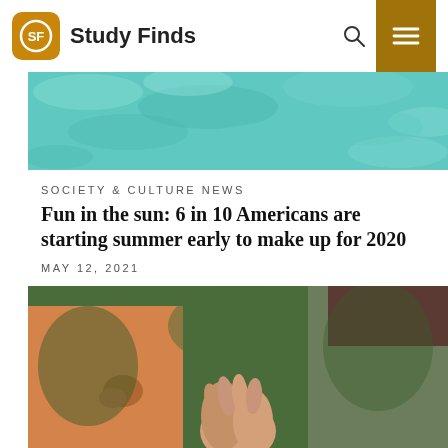Study Finds
[Figure (photo): Turquoise pool water surface with light reflections]
SOCIETY & CULTURE NEWS
Fun in the sun: 6 in 10 Americans are starting summer early to make up for 2020
MAY 12, 2021
[Figure (photo): Couple holding hands outdoors, woman in orange dress, man in green pants]